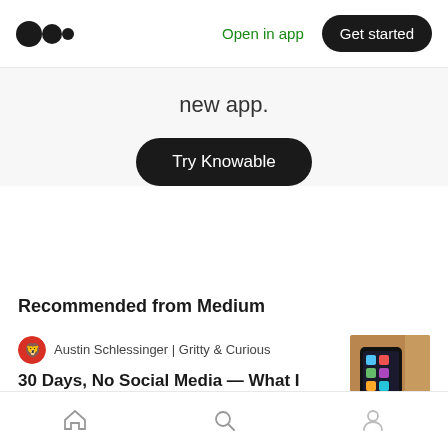[Figure (logo): Medium logo - two overlapping circles]
Open in app
Get started
new app.
Try Knowable
Recommended from Medium
Austin Schlessinger | Gritty & Curious
30 Days, No Social Media — What I learned
[Figure (photo): Thumbnail photo of a smartphone with social media app icons on a wooden surface]